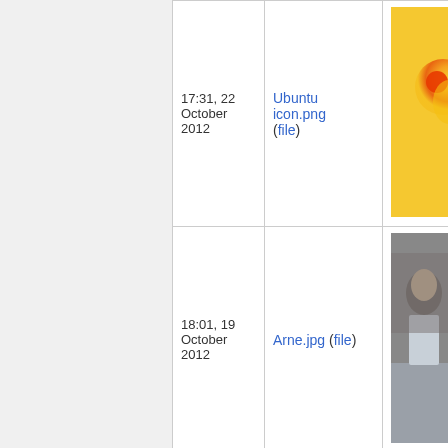| Date | File | Image |
| --- | --- | --- |
| 17:31, 22 October 2012 | Ubuntu icon.png (file) | [Ubuntu icon image] |
| 18:01, 19 October 2012 | Arne.jpg (file) | [Arne photo] |
|  |  | [waveform image partial] |